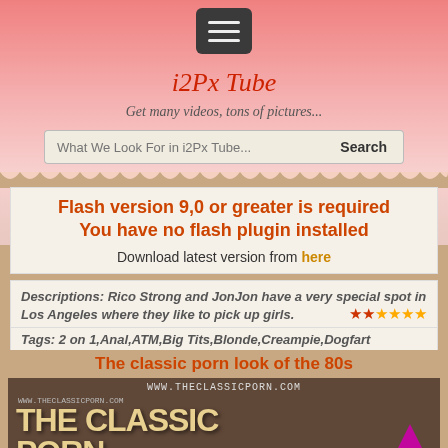i2Px Tube
Get many videos, tons of pictures...
Flash version 9,0 or greater is required
You have no flash plugin installed
Download latest version from here
Descriptions: Rico Strong and JonJon have a very special spot in Los Angeles where they like to pick up girls.
Tags: 2 on 1,Anal,ATM,Big Tits,Blonde,Creampie,Dogfart Debut,Double Penetration,Facial,No Tattoos,Shaved   Cindy Sun
The classic porn look of the 80s
[Figure (screenshot): Screenshot of theclassicporn.com website showing large text THE CLASSIC / PORN with site URL watermarks and a pink arrow button]